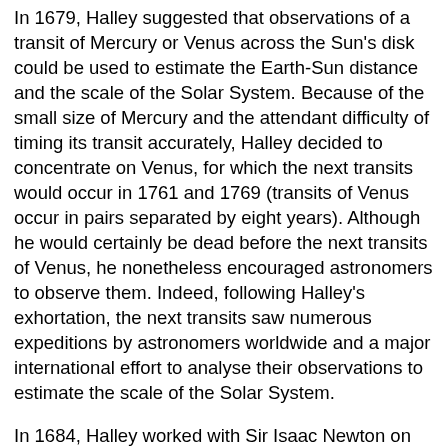In 1679, Halley suggested that observations of a transit of Mercury or Venus across the Sun's disk could be used to estimate the Earth-Sun distance and the scale of the Solar System. Because of the small size of Mercury and the attendant difficulty of timing its transit accurately, Halley decided to concentrate on Venus, for which the next transits would occur in 1761 and 1769 (transits of Venus occur in pairs separated by eight years). Although he would certainly be dead before the next transits of Venus, he nonetheless encouraged astronomers to observe them. Indeed, following Halley's exhortation, the next transits saw numerous expeditions by astronomers worldwide and a major international effort to analyse their observations to estimate the scale of the Solar System.
In 1684, Halley worked with Sir Isaac Newton on the laws of planetary motion. In 1685, he was elected Clerk to the Royal Society and started editing the Society's journal, Philosophical Transactions. He asked the Society to finance publication of Newton's Principia, but his request was declined, as the Society had just financed publication of Historia Piscium (History of Fishes), by John Ray and Francis Willughby, a book which was not selling well. (In fact, the Society owed Halley fifty pounds salary but could not afford to pay him so instead sent him fifty copies of Historia Piscium. Halley consequently paid for the publication...